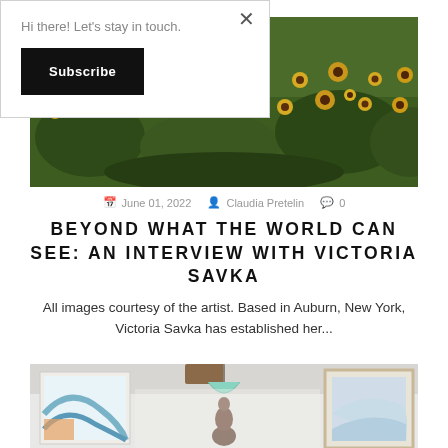Hi there! Let's stay in touch.
Subscribe
[Figure (photo): Outdoor field of yellow and black-eyed Susan wildflowers with green foliage]
June 01, 2022  Claudia Pretelin  0
BEYOND WHAT THE WORLD CAN SEE: AN INTERVIEW WITH VICTORIA SAVKA
All images courtesy of the artist. Based in Auburn, New York, Victoria Savka has established her...
[Figure (photo): Interior gallery space with large framed artwork on walls and a hanging pendant lamp, person visible in background]